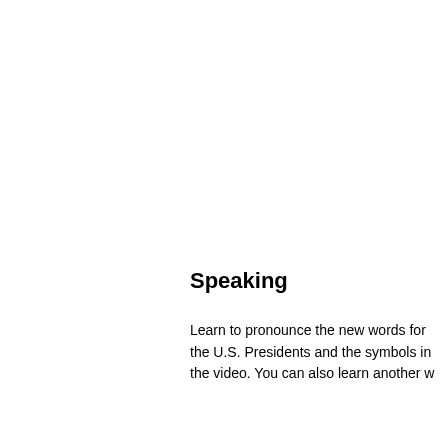Speaking
Learn to pronounce the new words for the U.S. Presidents and the symbols in the video. You can also learn another w